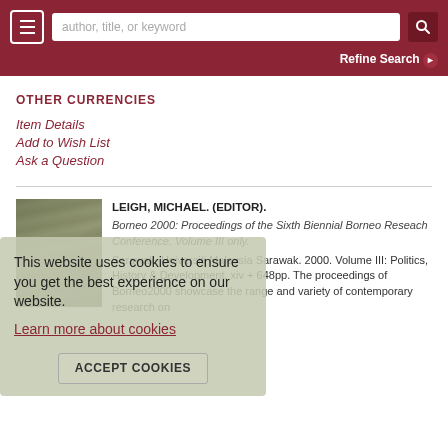author, title, or keyword | Refine Search
OTHER CURRENCIES
Item Details
Add to Wish List
Ask a Question
[Figure (photo): Book cover image, olive/green toned]
LEIGH, MICHAEL. (EDITOR). Borneo 2000: Proceedings of the Sixth Biennial Borneo Reseach Conference. Volume III only. Sarawak. Universiti Malaysia Sarawak. 2000. Volume III: Politics, History & Development. xiv + 648pp. The proceedings of Borneo2000 showcase the range and variety of contemporary research on
This website uses cookies to ensure you get the best experience on our website. Learn more about cookies ACCEPT COOKIES